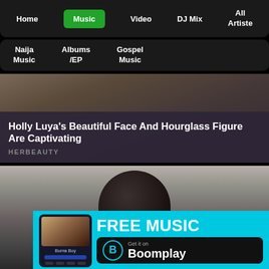Home | Music | Video | DJ Mix | All Artiste
Naija Music | Albums /EP | Gospel Music
[Figure (photo): Advertisement image showing person in white jacket with rose graphic, overlaid with text 'Holly Luya's Beautiful Face And Hourglass Figure Are Captivating' and source label 'HERBEAUTY']
[Figure (photo): Photo of person with braided hair, viewed from behind. Overlaid with Boomplay advertisement banner showing 'FREE MUSIC - Get it on Boomplay' with Burna Boy artist image in the app interface]